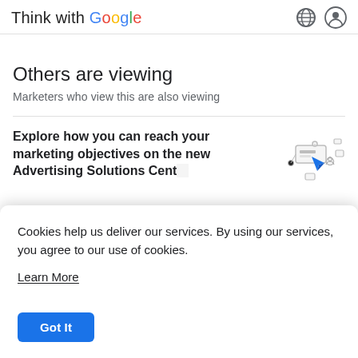Think with Google
Others are viewing
Marketers who view this are also viewing
Explore how you can reach your marketing objectives on the new Advertising Solutions Center
[Figure (illustration): Illustration of a computer/advertising interface with a blue cursor arrow and connected nodes]
Cookies help us deliver our services. By using our services, you agree to our use of cookies.
Learn More
Got It